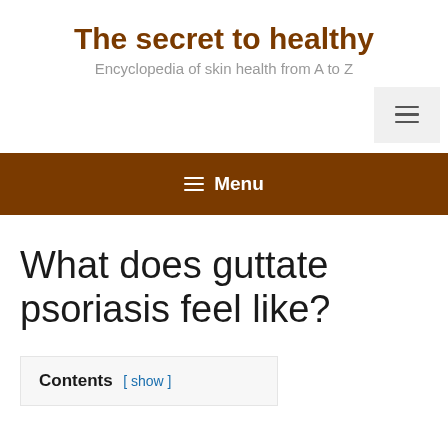The secret to healthy
Encyclopedia of skin health from A to Z
≡ Menu
What does guttate psoriasis feel like?
Contents [ show ]